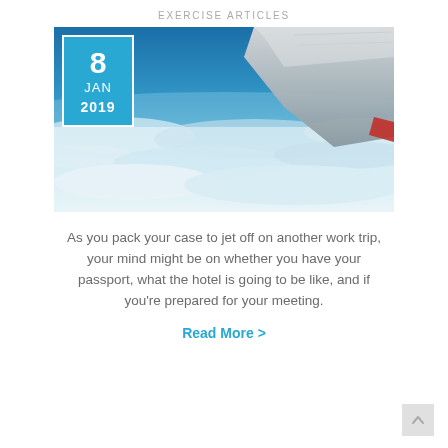EXERCISE ARTICLES
[Figure (photo): Aerial photograph taken from an airplane window showing the airplane wing against a blue sky with clouds below. A date badge overlay shows 8 JAN 2019 in teal/blue.]
As you pack your case to jet off on another work trip, your mind might be on whether you have your passport, what the hotel is going to be like, and if you’re prepared for your meeting.
Read More >